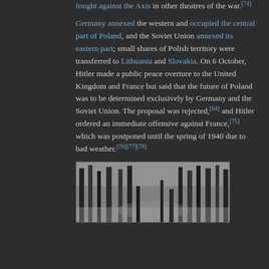fought against the Axis in other theatres of the war.[74] Germany annexed the western and occupied the central part of Poland, and the Soviet Union annexed its eastern part; small shares of Polish territory were transferred to Lithuania and Slovakia. On 6 October, Hitler made a public peace overture to the United Kingdom and France but said that the future of Poland was to be determined exclusively by Germany and the Soviet Union. The proposal was rejected,[64] and Hitler ordered an immediate offensive against France,[75] which was postponed until the spring of 1940 due to bad weather.[76][77][78]
[Figure (photo): Black and white photograph showing a winter forest scene, likely depicting soldiers or military activity during WWII]